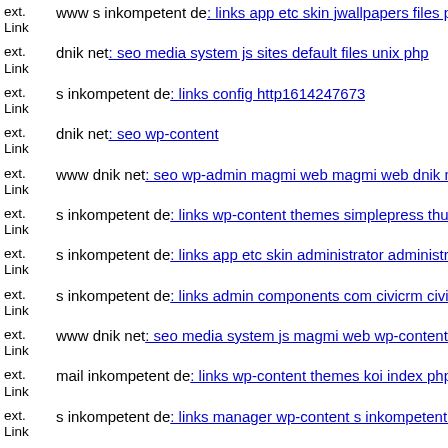ext. Link  www s inkompetent de: links app etc skin jwallpapers files plu...
ext. Link  dnik net: seo media system js sites default files unix php
ext. Link  s inkompetent de: links config http1614247673
ext. Link  dnik net: seo wp-content
ext. Link  www dnik net: seo wp-admin magmi web magmi web dnik net...
ext. Link  s inkompetent de: links wp-content themes simplepress thumb...
ext. Link  s inkompetent de: links app etc skin administrator administrato...
ext. Link  s inkompetent de: links admin components com civicrm civicrm...
ext. Link  www dnik net: seo media system js magmi web wp-content the...
ext. Link  mail inkompetent de: links wp-content themes koi index php
ext. Link  s inkompetent de: links manager wp-content s inkompetent de
ext. Link  s inkompetent de: links phpthumb api user dnik net...